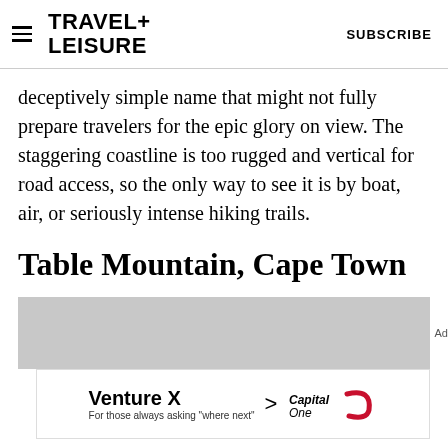TRAVEL+ LEISURE  |  SUBSCRIBE
deceptively simple name that might not fully prepare travelers for the epic glory on view. The staggering coastline is too rugged and vertical for road access, so the only way to see it is by boat, air, or seriously intense hiking trails.
Table Mountain, Cape Town
[Figure (other): Gray advertisement placeholder banner]
[Figure (other): Venture X Capital One advertisement banner]